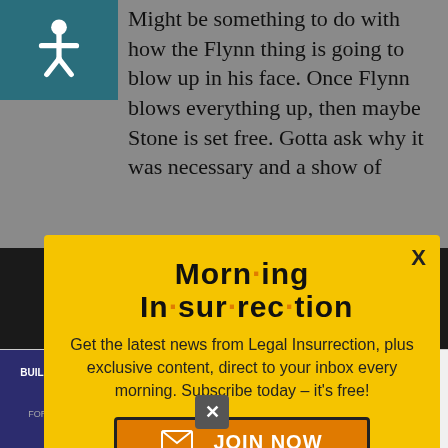Might be something to do with how the Flynn thing is going to blow up in his face. Once Flynn blows everything up, then maybe Stone is set free. Gotta ask why it was necessary and a show of
[Figure (illustration): Accessibility icon (wheelchair symbol) on teal/dark cyan background]
[Figure (infographic): Morning Insurrection popup modal with yellow background, title 'Morn·ing In·sur·rec·tion', subscription text, and JOIN NOW button]
Here is a chance to expose the Schumer/Clinton on the SDNY...
[Figure (infographic): Build Nuclear Now advertisement banner: Clean. Secure. Homegrown. with Open button]